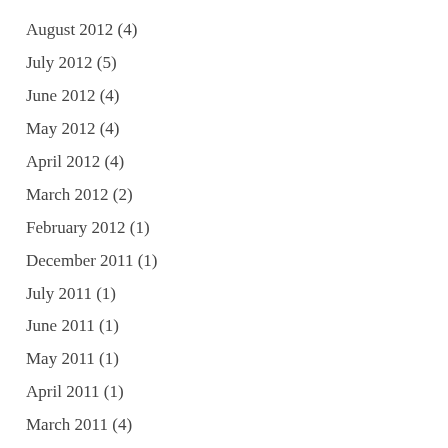August 2012 (4)
July 2012 (5)
June 2012 (4)
May 2012 (4)
April 2012 (4)
March 2012 (2)
February 2012 (1)
December 2011 (1)
July 2011 (1)
June 2011 (1)
May 2011 (1)
April 2011 (1)
March 2011 (4)
February 2011 (2)